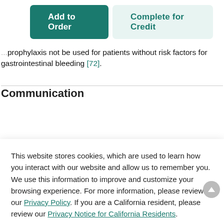[Figure (screenshot): Two UI buttons: 'Add to Order' (dark teal, filled) and 'Complete for Credit' (light teal, outlined)]
prophylaxis not be used for patients without risk factors for gastrointestinal bleeding [72].
Communication
This website stores cookies, which are used to learn how you interact with our website and allow us to remember you. We use this information to improve and customize your browsing experience. For more information, please review our Privacy Policy. If you are a California resident, please review our Privacy Notice for California Residents.
cation of tients and nographics a native llies is sibility to xplained in vious d patient
[Figure (screenshot): Accept button in dark teal]
due to the patient's lack of proficiency in the English language, an interpreter is